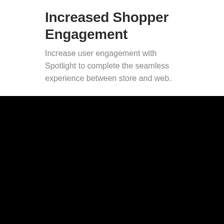Increased Shopper Engagement
Increase user engagement with Spotlight to complete the seamless experience between store and web.
[Figure (photo): Black background area occupying the lower half of the page]